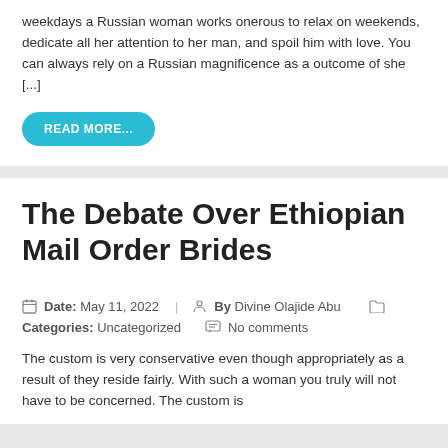weekdays a Russian woman works onerous to relax on weekends, dedicate all her attention to her man, and spoil him with love. You can always rely on a Russian magnificence as a outcome of she [...]
READ MORE...
The Debate Over Ethiopian Mail Order Brides
Date: May 11, 2022   By Divine Olajide Abu   Categories: Uncategorized   No comments
The custom is very conservative even though appropriately as a result of they reside fairly. With such a woman you truly will not have to be concerned. The custom is